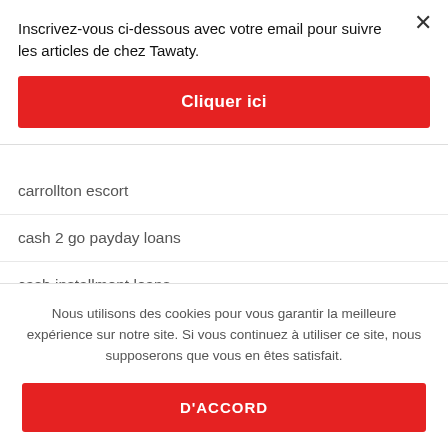Inscrivez-vous ci-dessous avec votre email pour suivre les articles de chez Tawaty.
Cliquer ici
carrollton escort
cash 2 go payday loans
cash installment loans
cash loans payday
Nous utilisons des cookies pour vous garantir la meilleure expérience sur notre site. Si vous continuez à utiliser ce site, nous supposerons que vous en êtes satisfait.
D'ACCORD